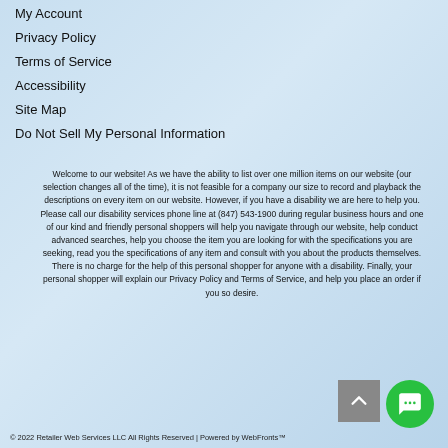My Account
Privacy Policy
Terms of Service
Accessibility
Site Map
Do Not Sell My Personal Information
Welcome to our website! As we have the ability to list over one million items on our website (our selection changes all of the time), it is not feasible for a company our size to record and playback the descriptions on every item on our website. However, if you have a disability we are here to help you. Please call our disability services phone line at (847) 543-1900 during regular business hours and one of our kind and friendly personal shoppers will help you navigate through our website, help conduct advanced searches, help you choose the item you are looking for with the specifications you are seeking, read you the specifications of any item and consult with you about the products themselves. There is no charge for the help of this personal shopper for anyone with a disability. Finally, your personal shopper will explain our Privacy Policy and Terms of Service, and help you place an order if you so desire.
© 2022 Retailer Web Services LLC All Rights Reserved | Powered by WebFronts™